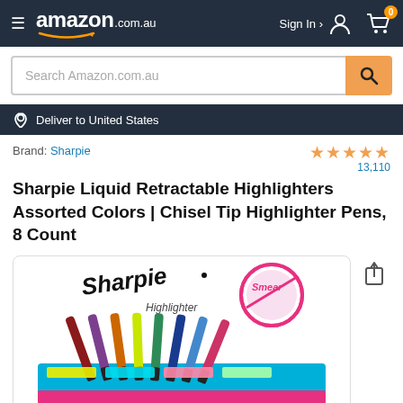amazon.com.au — Sign In — Cart 0
Search Amazon.com.au
Deliver to United States
Brand: Sharpie
★★★★★ 13,110
Sharpie Liquid Retractable Highlighters Assorted Colors | Chisel Tip Highlighter Pens, 8 Count
[Figure (photo): Product photo of Sharpie Highlighter 8-count assorted colors pack with Sharpie logo and smear-guard badge]